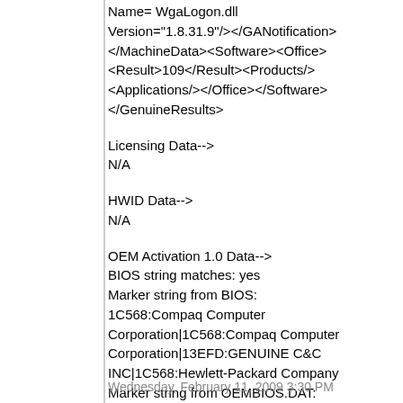Name= WgaLogon.dll Version="1.8.31.9"/></GANotification></MachineData><Software><Office><Result>109</Result><Products/><Applications/></Office></Software></GenuineResults>
Licensing Data-->
N/A
HWID Data-->
N/A
OEM Activation 1.0 Data-->
BIOS string matches: yes
Marker string from BIOS: 1C568:Compaq Computer Corporation|1C568:Compaq Computer Corporation|13EFD:GENUINE C&C INC|1C568:Hewlett-Packard Company
Marker string from OEMBIOS.DAT: N/A, hr = 0x80004005
OEM Activation 2.0 Data-->
N/A
Wednesday, February 11, 2009 3:30 PM